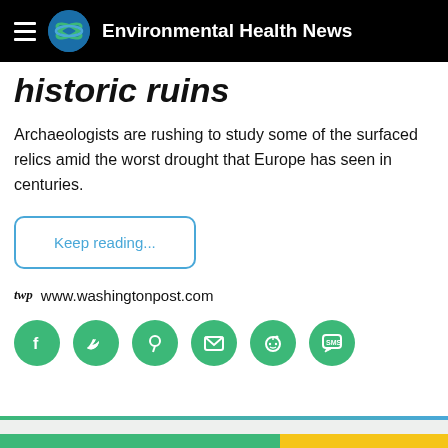Environmental Health News
historic ruins
Archaeologists are rushing to study some of the surfaced relics amid the worst drought that Europe has seen in centuries.
Keep reading...
www.washingtonpost.com
[Figure (other): Social share icons: Facebook, Twitter, Pinterest, Email, Reddit, SMS — all green circles with white icons]